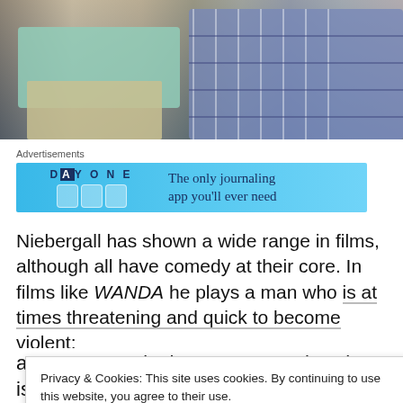[Figure (photo): Two people sitting side by side, one in a light teal shirt with khaki pants, another in a blue plaid shirt, cropped at torso level]
Advertisements
[Figure (screenshot): Day One app advertisement banner: 'DAY ONE - The only journaling app you'll ever need']
Niebergall has shown a wide range in films, although all have comedy at their core. In films like WANDA he plays a man who is at times threatening and quick to become violent...
Privacy & Cookies: This site uses cookies. By continuing to use this website, you agree to their use.
To find out more, including how to control cookies, see here: Cookie Policy
Close and accept
anyone's toes in the process...unless he is pushed, which